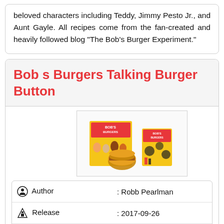beloved characters including Teddy, Jimmy Pesto Jr., and Aunt Gayle. All recipes come from the fan-created and heavily followed blog "The Bob's Burger Experiment."
Bob s Burgers Talking Burger Button
[Figure (photo): Product photo of Bob's Burgers Talking Burger Button — a yellow box with cartoon characters, a burger-shaped button, and packaging.]
| Author | : Robb Pearlman |
| Release | : 2017-09-26 |
| Editor | : Running Press |